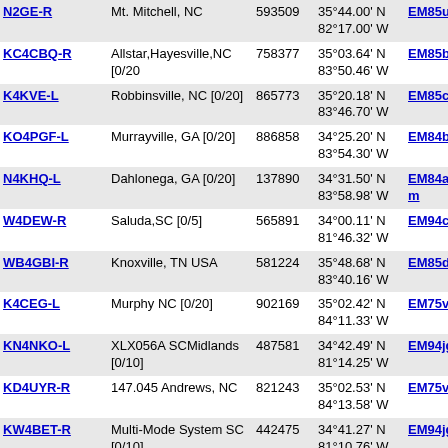| Callsign | Location | ID | Coordinates | Grid | Dist | Freq |
| --- | --- | --- | --- | --- | --- | --- |
| N2GE-R | Mt. Mitchell, NC | 593509 | 35°44.00' N 82°17.00' W | EM85ur | 82.7 | 145 |
| KC4CBQ-R | Allstar,Hayesville,NC [0/20 | 758377 | 35°03.64' N 83°50.46' W | EM85bb | 65.2 | 53 |
| K4KVE-L | Robbinsville, NC [0/20] | 865773 | 35°20.18' N 83°46.70' W | EM85ci | 67.8 |  |
| KO4PGF-L | Murrayville, GA [0/20] | 886858 | 34°25.20' N 83°54.30' W | EM84bk | 75.6 |  |
| N4KHQ-L | Dahlonega, GA [0/20] | 137890 | 34°31.50' N 83°58.98' W | EM84am | 76.9 |  |
| W4DEW-R | Saluda,SC [0/5] | 565891 | 34°00.11' N 81°46.32' W | EM94ca | 81.7 |  |
| WB4GBI-R | Knoxville, TN USA | 581224 | 35°48.68' N 83°40.16' W | EM85dt | 83.4 | 444 |
| K4CEG-L | Murphy NC [0/20] | 902169 | 35°02.42' N 84°11.33' W | EM75va | 84.5 |  |
| KN4NKO-L | XLX056A SCMidlands [0/10] | 487581 | 34°42.49' N 81°14.25' W | EM94jg | 84.5 | 442 |
| KD4UYR-R | 147.045 Andrews, NC | 821243 | 35°02.53' N 84°13.58' W | EM75vb | 86.6 | 145 |
| KW4BET-R | Multi-Mode System SC [0/10] | 442475 | 34°41.27' N 81°10.76' W | EM94jg | 88.0 | 442 |
| W4CHR-R | Chester SC 145.310 MHz | 307645 | 34°41.16' N 81°10.46' W | EM94jg | 88.3 | 145 |
| NI4JM-L | Clover, SC [0/5] | 48875 | 35°06.29' N 81°09.71' W | EM95kc | 88.8 |  |
| W4HBS-R | Mineral Bluff | 582741 | 34°59.00' N | EM74tx | 93.3 |  |